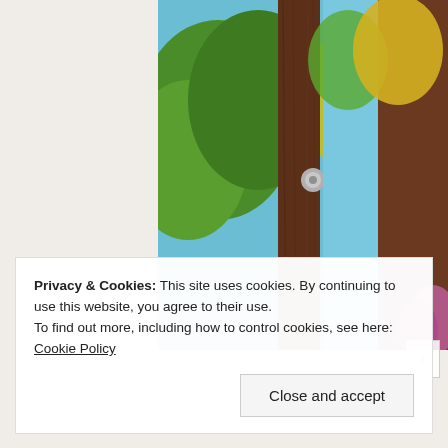[Figure (photo): Outdoor photo showing a wooden pergola or fence post structure with trees in the background — green and yellow foliage against a blue sky, bright HDR-style colors.]
Privacy & Cookies: This site uses cookies. By continuing to use this website, you agree to their use.
To find out more, including how to control cookies, see here: Cookie Policy
Close and accept